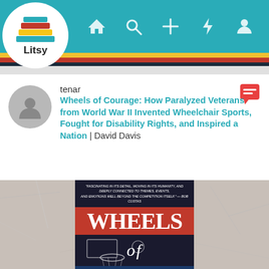[Figure (screenshot): Litsy app logo in white circle — stacked colorful books icon with 'Litsy' text below]
[Figure (screenshot): Navigation bar with home, search, plus, lightning bolt, and profile person icons on teal background]
[Figure (screenshot): Colored stripes: yellow, red, dark]
tenar
Wheels of Courage: How Paralyzed Veterans from World War II Invented Wheelchair Sports, Fought for Disability Rights, and Inspired a Nation | David Davis
[Figure (photo): Book cover of 'Wheels of Courage' by David Davis on a crumpled paper background. Cover shows title 'WHEELS of COURAGE' in large text on red, dark navy, and blue bands with a basketball hoop image.]